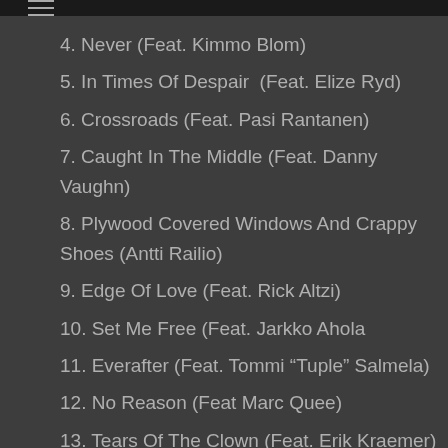≡
4. Never (Feat. Kimmo Blom)
5. In Times Of Despair  (Feat. Elize Ryd)
6. Crossroads (Feat. Pasi Rantanen)
7. Caught In The Middle (Feat. Danny Vaughn)
8. Plywood Covered Windows And Crappy Shoes (Antti Railio)
9. Edge Of Love (Feat. Rick Altzi)
10. Set Me Free (Feat. Jarkko Ahola
11. Everafter (Feat. Tommi “Tuple” Salmela)
12. No Reason (Feat Marc Quee)
13. Tears Of The Clown (Feat. Erik Kraemer)
We use cookies on this website to improve your experience.
ACCEPT
Translate »